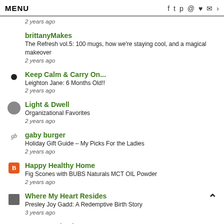MENU
2 years ago
brittanyMakes
The Refresh vol.5: 100 mugs, how we're staying cool, and a magical makeover
2 years ago
Keep Calm & Carry On...
Leighton Jane: 6 Months Old!!
2 years ago
Light & Dwell
Organizational Favorites
2 years ago
gaby burger
Holiday Gift Guide – My Picks For the Ladies
2 years ago
Happy Healthy Home
Fig Scones with BUBS Naturals MCT OIL Powder
2 years ago
Where My Heart Resides
Presley Joy Gadd: A Redemptive Birth Story
3 years ago
Jane Graybeal